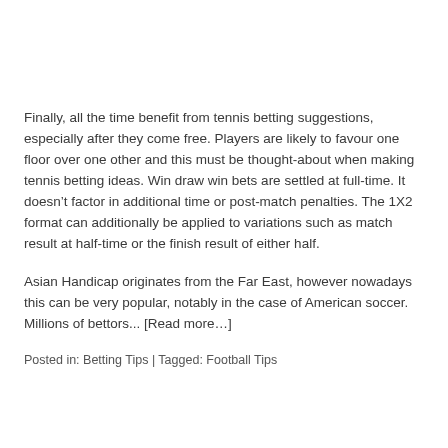Finally, all the time benefit from tennis betting suggestions, especially after they come free. Players are likely to favour one floor over one other and this must be thought-about when making tennis betting ideas. Win draw win bets are settled at full-time. It doesn't factor in additional time or post-match penalties. The 1X2 format can additionally be applied to variations such as match result at half-time or the finish result of either half.
Asian Handicap originates from the Far East, however nowadays this can be very popular, notably in the case of American soccer. Millions of bettors... [Read more…]
Posted in: Betting Tips | Tagged: Football Tips